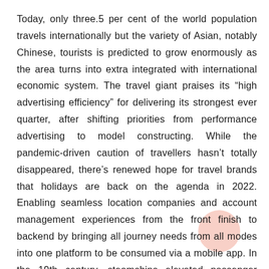Today, only three.5 per cent of the world population travels internationally but the variety of Asian, notably Chinese, tourists is predicted to grow enormously as the area turns into extra integrated with international economic system. The travel giant praises its “high advertising efficiency” for delivering its strongest ever quarter, after shifting priorities from performance advertising to model constructing. While the pandemic-driven caution of travellers hasn’t totally disappeared, there’s renewed hope for travel brands that holidays are back on the agenda in 2022. Enabling seamless location companies and account management experiences from the front finish to backend by bringing all journey needs from all modes into one platform to be consumed via a mobile app. In the 19th century, steamships elevated passenger travel between Europe and the United States.